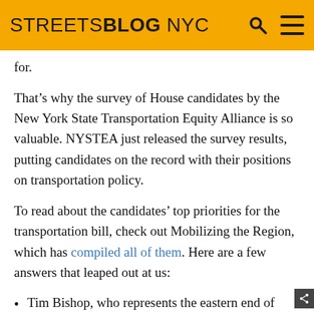STREETSBLOG NYC
for.
That’s why the survey of House candidates by the New York State Transportation Equity Alliance is so valuable. NYSTEA just released the survey results, putting candidates on the record with their positions on transportation policy.
To read about the candidates’ top priorities for the transportation bill, check out Mobilizing the Region, which has compiled all of them. Here are a few answers that leaped out at us:
Tim Bishop, who represents the eastern end of Long Island and is locked in one of the closest races in the state, showed he was willing to